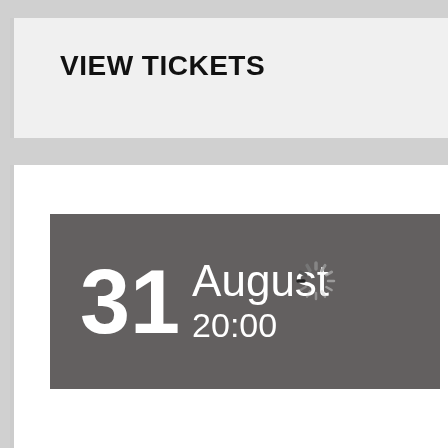VIEW TICKETS
[Figure (infographic): Date banner showing 31 August 20:00 in white text on dark grey background]
[Figure (other): Loading spinner icon]